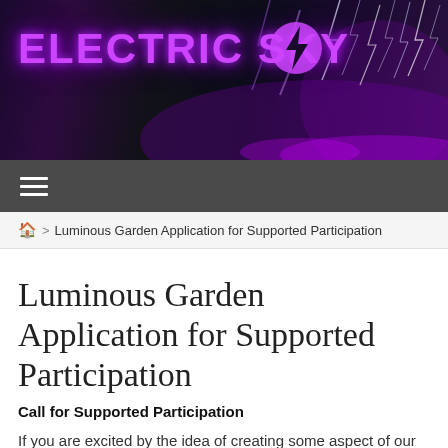[Figure (illustration): Electric Sky banner with lightning bolt logo and purple/pink 'ELECTRIC SKY' text against a dark stormy lightning background]
≡
🏠 > Luminous Garden Application for Supported Participation
Luminous Garden Application for Supported Participation
Call for Supported Participation
If you are excited by the idea of creating some aspect of our Luminous Garden, we invite you to apply as a supported participating artist or creative technologist. Participating artists and technology creatives may include visual art, sound, video, performance, landscaping, architectural elements, and so forth,